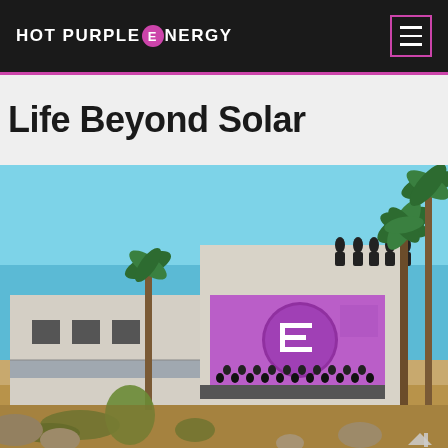HOT PURPLE ENERGY
Life Beyond Solar
[Figure (photo): Group photo of Hot Purple Energy team standing in front of and on top of their building office in a desert setting with palm trees. A large purple banner with the company 'E' logo is displayed on the building facade. Some team members are on the rooftop, others are gathered below on a platform.]